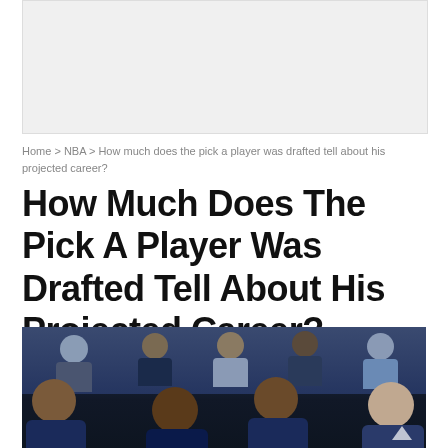[Figure (photo): Advertisement banner placeholder with light gray background]
Home > NBA > How much does the pick a player was drafted tell about his projected career?
How Much Does The Pick A Player Was Drafted Tell About His Projected Career?
[Figure (photo): Group photo of NBA draft prospects in suits at what appears to be an NBA draft event, multiple young men posed together in formal attire]